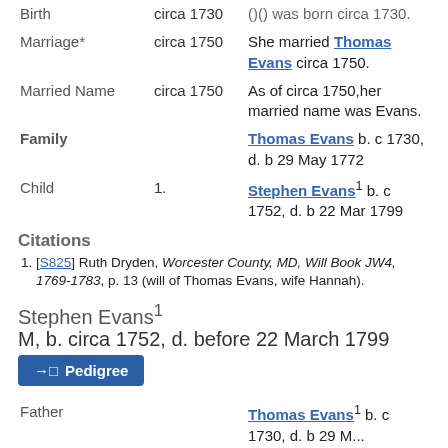| Event | Date | Detail |
| --- | --- | --- |
| Birth | circa 1730 | (...) (...) was born circa 1730. |
| Marriage* | circa 1750 | She married Thomas Evans circa 1750. |
| Married Name | circa 1750 | As of circa 1750,her married name was Evans. |
| Family |  | Thomas Evans b. c 1730, d. b 29 May 1772 |
| Child | 1. | Stephen Evans¹ b. c 1752, d. b 22 Mar 1799 |
Citations
[S825] Ruth Dryden, Worcester County, MD, Will Book JW4, 1769-1783, p. 13 (will of Thomas Evans, wife Hannah).
Stephen Evans¹
M, b. circa 1752, d. before 22 March 1799
Pedigree
| Relation | Detail |
| --- | --- |
| Father | Thomas Evans¹ b. c 1730, d. b 29 M... |